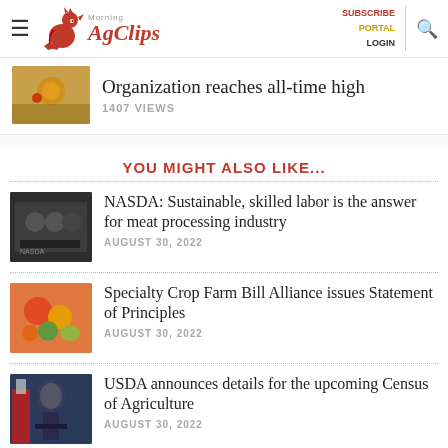Morning AgClips — SUBSCRIBE PORTAL LOGIN
Organization reaches all-time high
1407 VIEWS
YOU MIGHT ALSO LIKE...
NASDA: Sustainable, skilled labor is the answer for meat processing industry
AUGUST 30, 2022
Specialty Crop Farm Bill Alliance issues Statement of Principles
AUGUST 30, 2022
USDA announces details for the upcoming Census of Agriculture
AUGUST 30, 2022